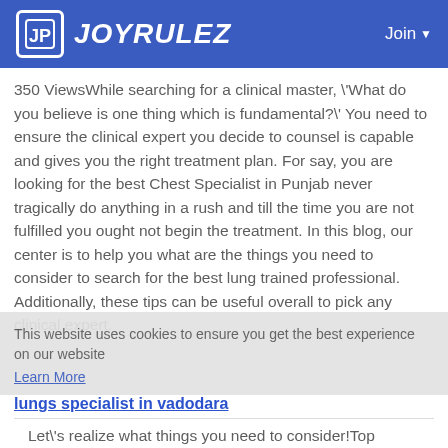JOYRULEZ  Join
350 ViewsWhile searching for a clinical master, \'What do you believe is one thing which is fundamental?\' You need to ensure the clinical expert you decide to counsel is capable and gives you the right treatment plan. For say, you are looking for the best Chest Specialist in Punjab never tragically do anything in a rush and till the time you are not fulfilled you ought not begin the treatment. In this blog, our center is to help you what are the things you need to consider to search for the best lung trained professional. Additionally, these tips can be useful overall to pick any clinical expert.
This website uses cookies to ensure you get the best experience on our website
Learn More
lungs specialist in vadodara
Let\'s realize what things you need to consider!Top things to pick the lung specialistLung experts are